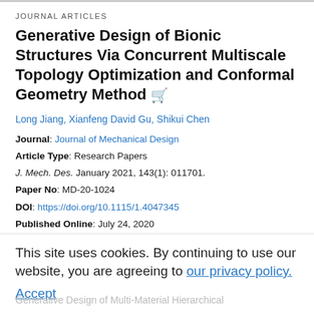JOURNAL ARTICLES
Generative Design of Bionic Structures Via Concurrent Multiscale Topology Optimization and Conformal Geometry Method 🛒
Long Jiang, Xianfeng David Gu, Shikui Chen
Journal: Journal of Mechanical Design
Article Type: Research Papers
J. Mech. Des. January 2021, 143(1): 011701.
Paper No: MD-20-1024
DOI: https://doi.org/10.1115/1.4047345
Published Online: July 24, 2020
Abstract ∨   View Article   🖹 PDF
Topics: Design, Metamaterials, Optimization, Topology
This site uses cookies. By continuing to use our website, you are agreeing to our privacy policy. Accept